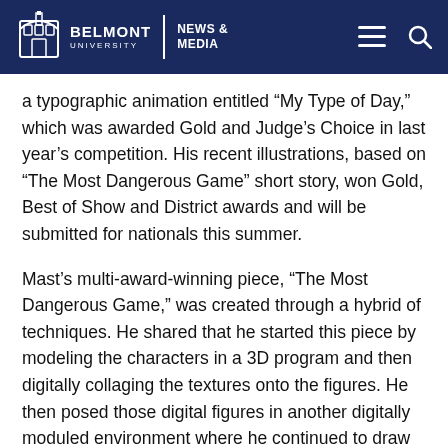BELMONT UNIVERSITY | NEWS & MEDIA
a typographic animation entitled “My Type of Day,” which was awarded Gold and Judge’s Choice in last year’s competition. His recent illustrations, based on “The Most Dangerous Game” short story, won Gold, Best of Show and District awards and will be submitted for nationals this summer.
Mast’s multi-award-winning piece, “The Most Dangerous Game,” was created through a hybrid of techniques. He shared that he started this piece by modeling the characters in a 3D program and then digitally collaging the textures onto the figures. He then posed those digital figures in another digitally moduled environment where he continued to draw 2D layers through the use of Photoshop.
In sharing his success, Mast said, “I would like to thank my parents. They may not be artists themselves, but they always